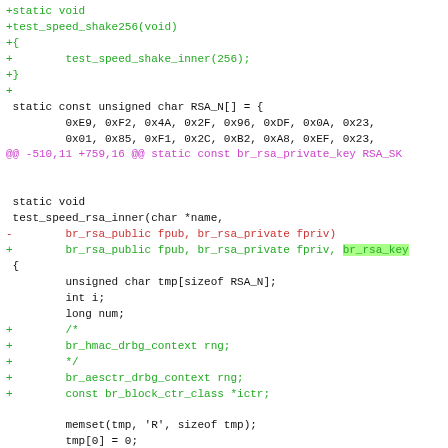Code diff showing changes to RSA speed test function in C source file
+static void
+test_speed_shake256(void)
+{
+       test_speed_shake_inner(256);
+}
+
 static const unsigned char RSA_N[] = {
        0xE9, 0xF2, 0x4A, 0x2F, 0x96, 0xDF, 0x0A, 0x23,
        0x01, 0x85, 0xF1, 0x2C, 0xB2, 0xA8, 0xEF, 0x23,
@@ -510,11 +759,16 @@ static const br_rsa_private_key RSA_SK
 static void
 test_speed_rsa_inner(char *name,
-       br_rsa_public fpub, br_rsa_private fpriv)
+       br_rsa_public fpub, br_rsa_private fpriv, br_rsa_key
 {
        unsigned char tmp[sizeof RSA_N];
        int i;
        long num;
+       /*
+       br_hmac_drbg_context rng;
+       */
+       br_aesctr_drbg_context rng;
+       const br_block_ctr_class *ictr;

        memset(tmp, 'R', sizeof tmp);
        tmp[0] = 0;
@@ -568,27 +822,113 @@ test_speed_rsa_inner(char *name,
               }
               num <<= 1;
        }
+